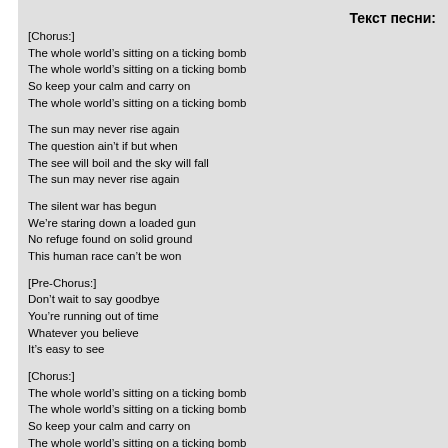Текст песни:
[Chorus:]
The whole world's sitting on a ticking bomb
The whole world's sitting on a ticking bomb
So keep your calm and carry on
The whole world's sitting on a ticking bomb
The sun may never rise again
The question ain't if but when
The see will boil and the sky will fall
The sun may never rise again
The silent war has begun
We're staring down a loaded gun
No refuge found on solid ground
This human race can't be won
[Pre-Chorus:]
Don't wait to say goodbye
You're running out of time
Whatever you believe
It's easy to see
[Chorus:]
The whole world's sitting on a ticking bomb
The whole world's sitting on a ticking bomb
So keep your calm and carry on
The whole world's sitting on a ticking bomb
And it's about to explode